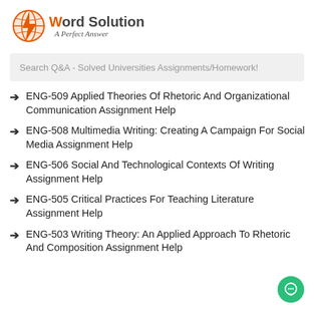[Figure (logo): My Word Solution logo with orange lightning bolt globe icon and tagline 'A Perfect Answer']
Search Q&A - Solved Universities Assignments/Homework!
ENG-509 Applied Theories Of Rhetoric And Organizational Communication Assignment Help
ENG-508 Multimedia Writing: Creating A Campaign For Social Media Assignment Help
ENG-506 Social And Technological Contexts Of Writing Assignment Help
ENG-505 Critical Practices For Teaching Literature Assignment Help
ENG-503 Writing Theory: An Applied Approach To Rhetoric And Composition Assignment Help